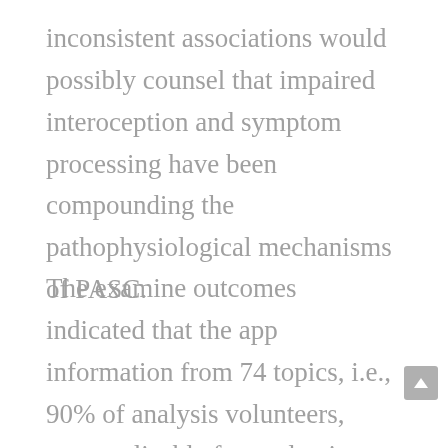inconsistent associations would possibly counsel that impaired interoception and symptom processing have been compounding the pathophysiological mechanisms of PASC.
The examine outcomes indicated that the app information from 74 topics, i.e., 90% of analysis volunteers, was applicable for evaluation, with 4022 entries reflecting 77.6% of all potential entries. Long COVID signs differed considerably from individual